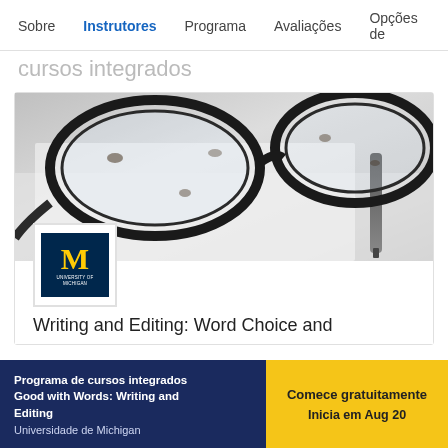Sobre  Instrutores  Programa  Avaliações  Opções de
cursos integrados
[Figure (photo): Close-up photo of black-framed eyeglasses resting on a white surface with a pen in the background, with University of Michigan logo overlay]
Writing and Editing: Word Choice and
Programa de cursos integrados Good with Words: Writing and Editing
Universidade de Michigan
Comece gratuitamente
Inicia em Aug 20